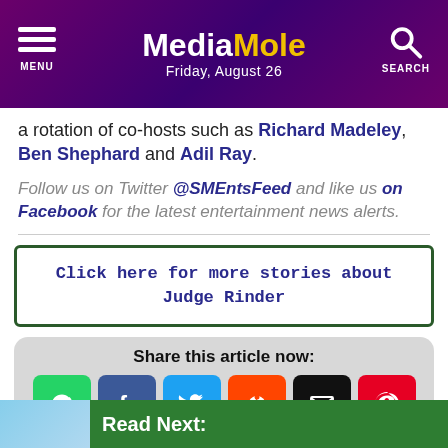MediaMole – Friday, August 26
a rotation of co-hosts such as Richard Madeley, Ben Shephard and Adil Ray.
Follow us on Twitter @SMEntsFeed and like us on Facebook for the latest entertainment news alerts.
Click here for more stories about Judge Rinder
Share this article now:
Read Next: